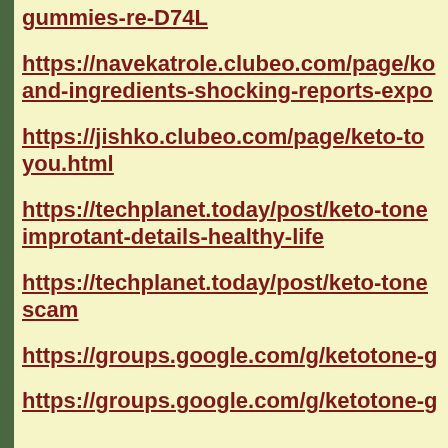gummies-re-D74L
https://navekatrole.clubeo.com/page/ko and-ingredients-shocking-reports-expo
https://jishko.clubeo.com/page/keto-to you.html
https://techplanet.today/post/keto-tone improtant-details-healthy-life
https://techplanet.today/post/keto-tone scam
https://groups.google.com/g/ketotone-g
https://groups.google.com/g/ketotone-g